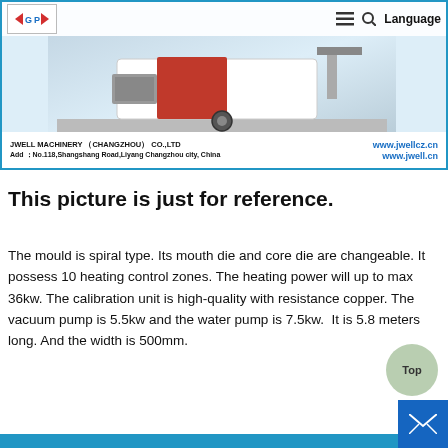JWELL MACHINERY (CHANGZHOU) CO.,LTD | Add: No.118,Shangshang Road,Liyang Changzhou city, China | www.jwellcz.cn | www.jwell.cn
[Figure (photo): Industrial machinery (mould/extrusion equipment) in white and red colors on a workshop floor, shown against light blue background with company branding. Logo with wings and 'GP' letters in top-left. Navigation bar with hamburger menu, search icon, and Language text in top-right.]
This picture is just for reference.
The mould is spiral type. Its mouth die and core die are changeable. It possess 10 heating control zones. The heating power will up to max 36kw. The calibration unit is high-quality with resistance copper. The vacuum pump is 5.5kw and the water pump is 7.5kw.  It is 5.8 meters long. And the width is 500mm.